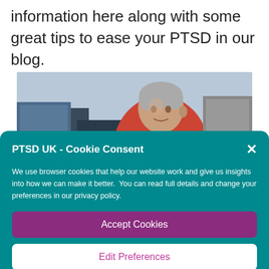information here along with some great tips to ease your PTSD in our blog.
[Figure (photo): An older man with grey hair wearing a red shirt, photographed in what appears to be a gym or industrial setting.]
PTSD UK - Cookie Consent
We use browser cookies that help our website work and give us insights into how we can make it better.  You can read full details and change your preferences in our privacy policy.
Accept Cookies
Edit Preferences
Cookie Policy   Privacy